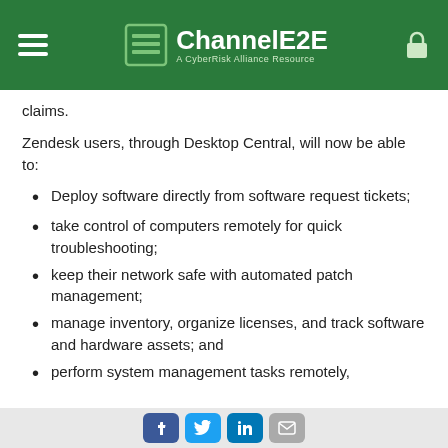ChannelE2E — A CyberRisk Alliance Resource
claims.
Zendesk users, through Desktop Central, will now be able to:
Deploy software directly from software request tickets;
take control of computers remotely for quick troubleshooting;
keep their network safe with automated patch management;
manage inventory, organize licenses, and track software and hardware assets; and
perform system management tasks remotely, including setting up your desktops, managing...
Social share icons: Facebook, Twitter, LinkedIn, Email